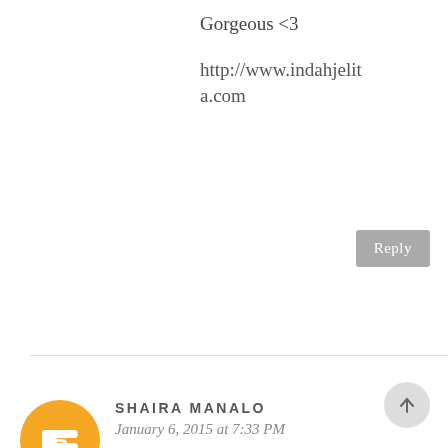Gorgeous <3
http://www.indahjelita.com
Reply
SHAIRA MANALO
January 6, 2015 at 7:33 PM
I wore green for NY2015 :) Great outfit!
Have a nice day, Jeanne! :)
xoxo,
SHAIRA